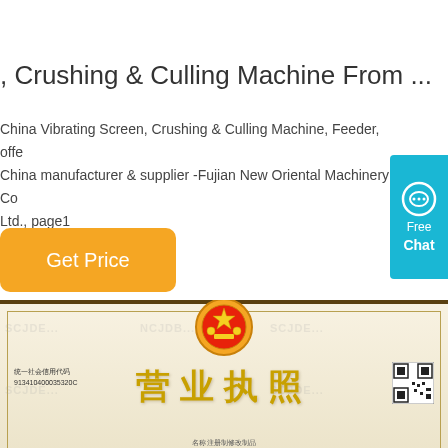, Crushing & Culling Machine From ...
China Vibrating Screen, Crushing & Culling Machine, Feeder, offer China manufacturer & supplier -Fujian New Oriental Machinery Co Ltd., page1
[Figure (screenshot): Orange 'Get Price' button with rounded corners]
[Figure (screenshot): Cyan/teal 'Free Chat' widget button on right side]
[Figure (photo): Chinese business license certificate (营业执照) with national emblem, gold text, decorative border, QR code, and watermark text SCJDE]